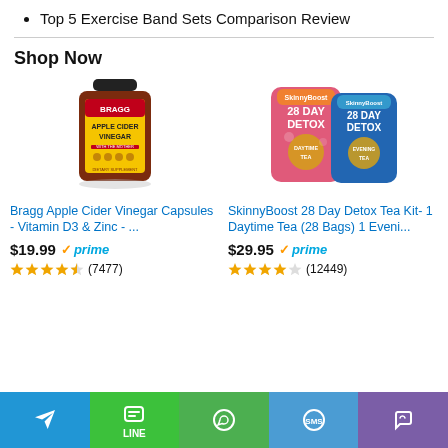Top 5 Exercise Band Sets Comparison Review
Shop Now
[Figure (photo): Bragg Apple Cider Vinegar Capsules bottle with yellow label]
Bragg Apple Cider Vinegar Capsules - Vitamin D3 & Zinc - ...
$19.99 ✓prime (7477)
[Figure (photo): SkinnyBoost 28 Day Detox Tea Kit with pink daytime and blue evening tea bags]
SkinnyBoost 28 Day Detox Tea Kit- 1 Daytime Tea (28 Bags) 1 Eveni...
$29.95 ✓prime (12449)
Telegram | LINE | WhatsApp | SMS | Viber